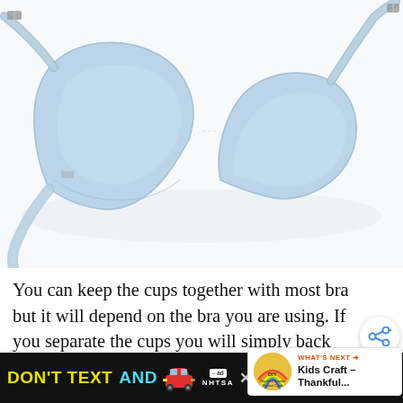[Figure (photo): Light blue bra laid flat and partially disassembled — cups separated, straps extended, viewed from above on white background]
You can keep the cups together with most bra but it will depend on the bra you are using. If you separate the cups you will simply back together along the wire line.
[Figure (screenshot): Share button overlay (circular white button with share icon) and a 'WHAT'S NEXT' widget showing thumbnail and text 'Kids Craft – Thankful...']
[Figure (screenshot): DON'T TEXT AND [car emoji] advertisement banner with NHTSA logo on black background]